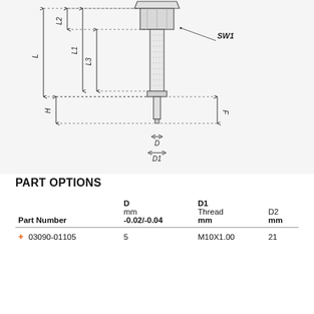[Figure (engineering-diagram): Cross-sectional engineering diagram of an index plunger component showing dimension labels L, L1, L2, L3, H, D, D1, F, SW1 with leader lines and arrows.]
PART OPTIONS
| Part Number | D
mm
-0.02/-0.04 | D1
Thread
mm | D2
mm |
| --- | --- | --- | --- |
| 03090-01105 | 5 | M10X1.00 | 21 |